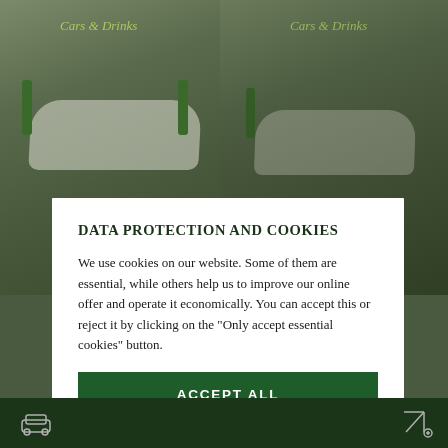[Figure (photo): Background photo of a classic white Porsche sports car displayed in a showroom with green decorative elements and a 'Cars & Drinks' logo/sign. Two slightly different versions of the same scene shown side by side (left brighter, right darker/behind modal).]
DATA PROTECTION AND COOKIES
We use cookies on our website. Some of them are essential, while others help us to improve our online offer and operate it economically. You can accept this or reject it by clicking on the "Only accept essential cookies" button.
ACCEPT ALL
› Individual cookie settings
Only accept essential cookies
› Imprint
› Data protection